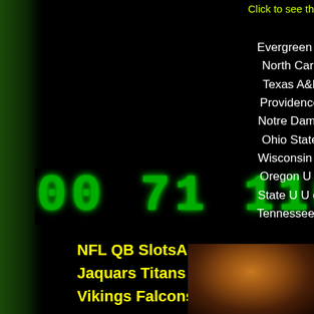Click to see th
Evergreen webapp - KEYS Boston College Clemson Duke R North Carolina State Virginia Virginia Tech Wake Forest Ba Texas A&M U Texas Tech U U of Kansas U of Missouri U o Providence College Rutgers U Seton Hall St. John's Syracu Notre Dame U of Pittsburgh U of South Florida Villanova We Ohio State U Pennsylvania State Purdue U U of Illinois U o Wisconsin Arizona State U Oregon State U Stanford U UC B Oregon U of Southern California U of Utah U of Washington State U U of Alabama U of Arkansas U of Florida U of Georg Tennessee Vanderbilt U Brigham Young U Butler U San Dieg
[Figure (other): Matrix-style green scrolling code banner with large green digital characters]
NFL QB SlotsApp - KEYS Bills Dolphins Patriots Jets Jaquars Titans Broncos Chiefs Raiders Chargers Cowbo Vikings Falcons Panthers Saints Buccaneers Cardinals 4
[Figure (photo): Partial photo of a person's face in dark brown tones, bottom right corner]